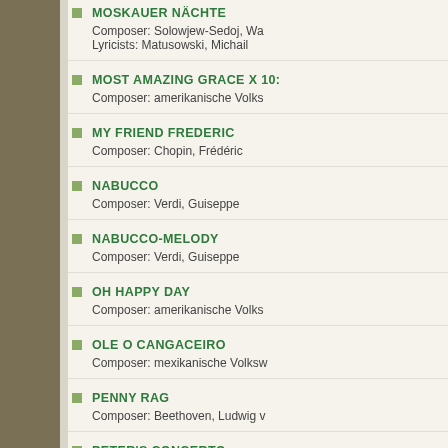MOSKAUER NÄCHTE
Composer: Solowjew-Sedoj, Wa
Lyricists: Matusowski, Michail
MOST AMAZING GRACE X 10:
Composer: amerikanische Volks
MY FRIEND FREDERIC
Composer: Chopin, Frédéric
NABUCCO
Composer: Verdi, Guiseppe
NABUCCO-MELODY
Composer: Verdi, Guiseppe
OH HAPPY DAY
Composer: amerikanische Volks
OLE O CANGACEIRO
Composer: mexikanische Volksw
PENNY RAG
Composer: Beethoven, Ludwig v
PETER'S CONCERTO